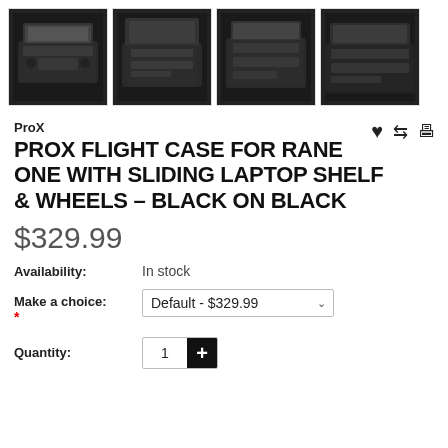[Figure (photo): Four thumbnail images of the ProX Flight Case for Rane One, showing the black DJ equipment case from different angles.]
ProX
PROX FLIGHT CASE FOR RANE ONE WITH SLIDING LAPTOP SHELF & WHEELS – BLACK ON BLACK
$329.99
Availability: In stock
Make a choice: Default - $329.99 *
Quantity: 1